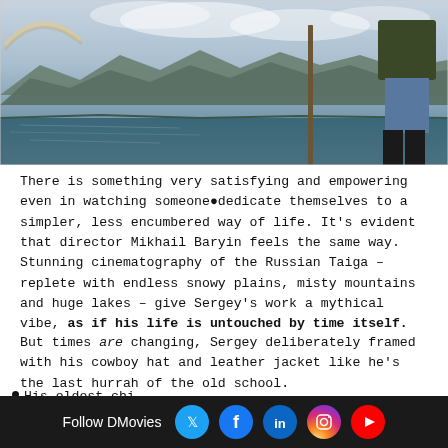[Figure (photo): A person standing near a wooden pole overlooking a wide lake with misty mountains in the background, Russian Taiga landscape, rainbow visible in top-left corner]
There is something very satisfying and empowering even in watching someone dedicate themselves to a simpler, less encumbered way of life. It's evident that director Mikhail Baryin feels the same way. Stunning cinematography of the Russian Taiga – replete with endless snowy plains, misty mountains and huge lakes – give Sergey's work a mythical vibe, as if his life is untouched by time itself.
But times are changing, Sergey deliberately framed with his cowboy hat and leather jacket like he's the last hurrah of the old school. His eldest chi... earning plenty...
His eldest chi
earning plenty
Follow DMovies